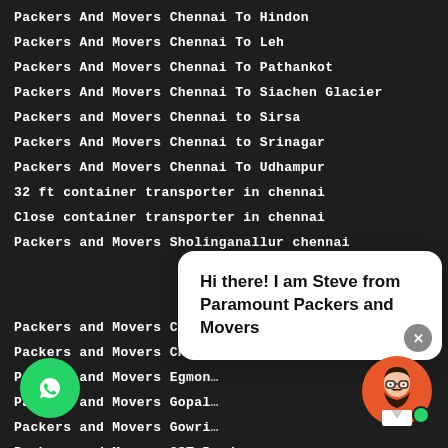Packers And Movers Chennai To Hindon
Packers And Movers Chennai To Leh
Packers And Movers Chennai To Pathankot
Packers And Movers Chennai To Siachen Glacier
Packers and Movers Chennai to Sirsa
Packers And Movers Chennai to Srinagar
Packers And Movers Chennai To Udhampur
32 ft container transporter in chennai
Close container transporter in chennai
Packers and Movers Sholinganallur chennai
Packers and Movers Choolaimedu
Packers and Movers Chrom...
Packers and Movers Egmon...
Packers and Movers Gopal...
Packers and Movers Gowri...
Packers and Movers GST Road
...and Movers Guduvanchery
...and Movers Guindy
Packers and Movers Kadambathur
Packers and Movers Kelambattar Colony
[Figure (illustration): Chat popup with text: Hi there! I am Steve from Paramount Packers and Movers. Close button (x), WhatsApp green circular button, and avatar of a person with glasses and beard on orange background with green online dot.]